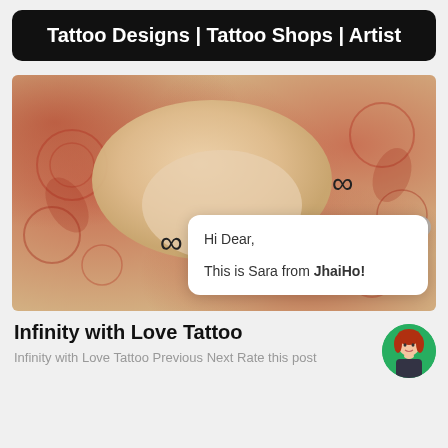Tattoo Designs | Tattoo Shops | Artist
[Figure (photo): Two wrists with matching small infinity symbol tattoos, resting on henna-patterned fabric. A chat bubble overlay says 'Hi Dear, This is Sara from JhaiHo!']
Infinity with Love Tattoo
Infinity with Love Tattoo Previous Next Rate this post